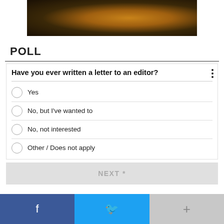[Figure (photo): Partial photo of food (appears to be grilled or roasted meat/fish) on foil, cropped at top of page]
POLL
Have you ever written a letter to an editor?
Yes
No, but I've wanted to
No, not interested
Other / Does not apply
NEXT *